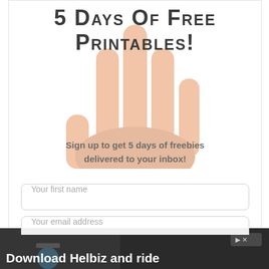5 Days of Free Printables!
Sign up to get 5 days of freebies delivered to your inbox!
[Figure (illustration): A hand with five fingers raised against a white background]
Your first name
Your email address
SUBSCRIBE
[Figure (infographic): Advertisement banner: Download Helbiz and ride, showing a bicycle handlebar image]